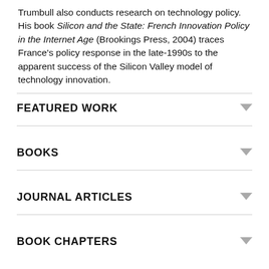Trumbull also conducts research on technology policy. His book Silicon and the State: French Innovation Policy in the Internet Age (Brookings Press, 2004) traces France's policy response in the late-1990s to the apparent success of the Silicon Valley model of technology innovation.
FEATURED WORK
BOOKS
JOURNAL ARTICLES
BOOK CHAPTERS